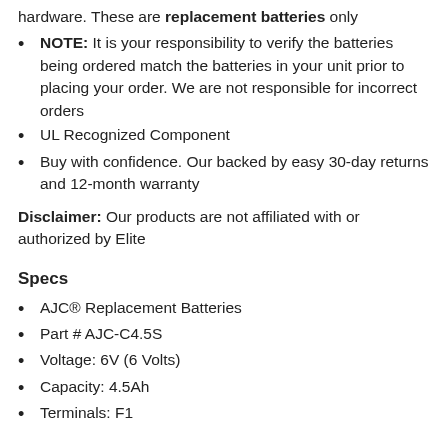hardware. These are replacement batteries only
NOTE: It is your responsibility to verify the batteries being ordered match the batteries in your unit prior to placing your order. We are not responsible for incorrect orders
UL Recognized Component
Buy with confidence. Our backed by easy 30-day returns and 12-month warranty
Disclaimer: Our products are not affiliated with or authorized by Elite
Specs
AJC® Replacement Batteries
Part # AJC-C4.5S
Voltage: 6V (6 Volts)
Capacity: 4.5Ah
Terminals: F1